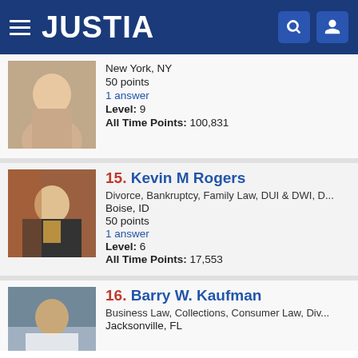JUSTIA
New York, NY
50 points
1 answer
Level: 9
All Time Points: 100,831
15. Kevin M Rogers
Divorce, Bankruptcy, Family Law, DUI & DWI, D...
Boise, ID
50 points
1 answer
Level: 6
All Time Points: 17,553
16. Barry W. Kaufman
Business Law, Collections, Consumer Law, Div...
Jacksonville, FL